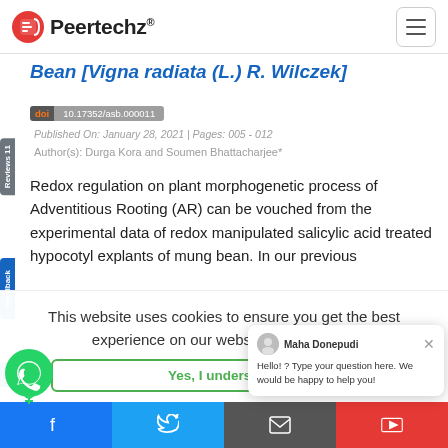Peertechz
Bean [Vigna radiata (L.) R. Wilczek]
doi 10.17352/asb.000011
Published On: January 28, 2021 | Pages: 005 - 012
Author(s): Durga Kora and Soumen Bhattacharjee*
Redox regulation on plant morphogenetic process of Adventitious Rooting (AR) can be vouched from the experimental data of redox manipulated salicylic acid treated hypocotyl explants of mung bean. In our previous
This website uses cookies to ensure you get the best experience on our website. Learn more
Yes, I understand
Maha Donepudi
Hello! ? Type your question here. We would be happy to help you!